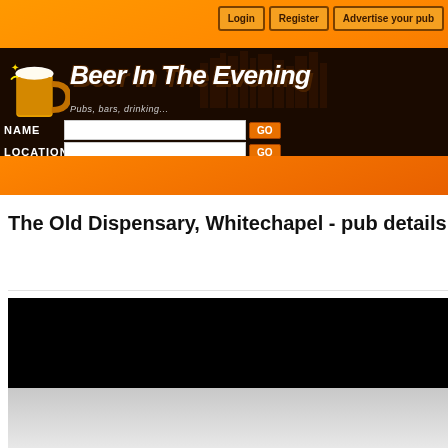[Figure (screenshot): Beer In The Evening website header with orange gradient background, navigation buttons (Login, Register, Advertise your pub), dark banner with beer mug logo and site title 'Beer In The Evening', subtitle 'Pubs, bars, drinking...', and search fields for NAME and LOCATION with GO buttons]
The Old Dispensary, Whitechapel - pub details
[Figure (photo): Black image block with gray reflection below, likely a pub photo that failed to load or is redacted]